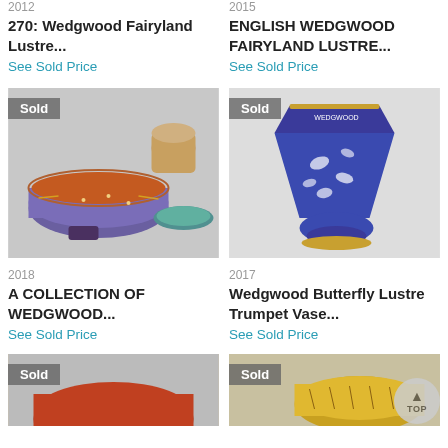2012
2015
270: Wedgwood Fairyland Lustre...
ENGLISH WEDGWOOD FAIRYLAND LUSTRE...
See Sold Price
See Sold Price
[Figure (photo): Collection of Wedgwood Fairyland Lustre ceramics with 'Sold' badge]
[Figure (photo): Wedgwood Butterfly Lustre Trumpet Vase, blue, with 'Sold' badge]
2018
2017
A COLLECTION OF WEDGWOOD...
Wedgwood Butterfly Lustre Trumpet Vase...
See Sold Price
See Sold Price
[Figure (photo): Partially visible ceramic item with 'Sold' badge]
[Figure (photo): Partially visible gold ceramic bowl with 'Sold' badge]